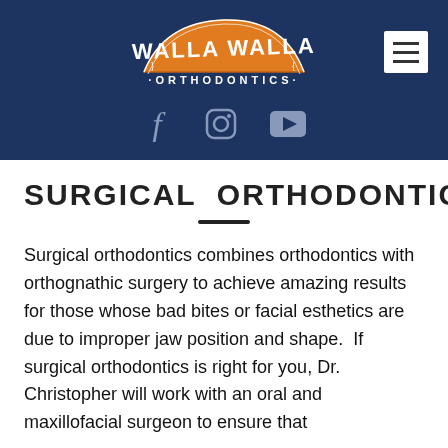[Figure (logo): Walla Walla Orthodontics logo on dark navy blue banner with Facebook, Instagram, and YouTube social media icons, and a hamburger menu button]
SURGICAL ORTHODONTICS
Surgical orthodontics combines orthodontics with orthognathic surgery to achieve amazing results for those whose bad bites or facial esthetics are due to improper jaw position and shape.  If surgical orthodontics is right for you, Dr. Christopher will work with an oral and maxillofacial surgeon to ensure that